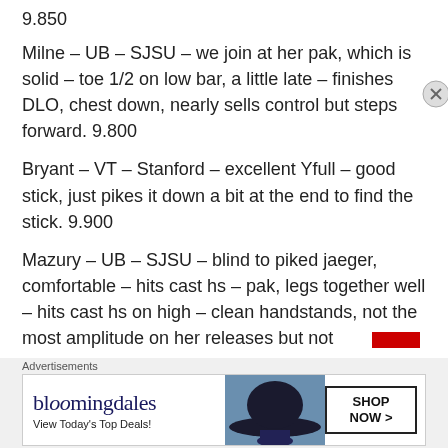9.850
Milne – UB – SJSU – we join at her pak, which is solid – toe 1/2 on low bar, a little late – finishes DLO, chest down, nearly sells control but steps forward. 9.800
Bryant – VT – Stanford – excellent Yfull – good stick, just pikes it down a bit at the end to find the stick. 9.900
Mazury – UB – SJSU – blind to piked jaeger, comfortable – hits cast hs – pak, legs together well – hits cast hs on high – clean handstands, not the most amplitude on her releases but not
Advertisements
[Figure (other): Bloomingdale's advertisement banner: 'bloomingdales / View Today's Top Deals! / SHOP NOW >']